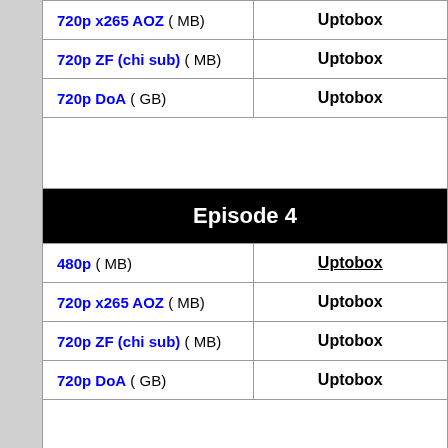| Format | Host |
| --- | --- |
| 720p x265 AOZ ( MB) | Uptobox |
| 720p ZF (chi sub) ( MB) | Uptobox |
| 720p DoA ( GB) | Uptobox |
|  |  |
| Episode 4 |  |
| 480p ( MB) | Uptobox |
| 720p x265 AOZ ( MB) | Uptobox |
| 720p ZF (chi sub) ( MB) | Uptobox |
| 720p DoA ( GB) | Uptobox |
|  |  |
| Episode 5 |  |